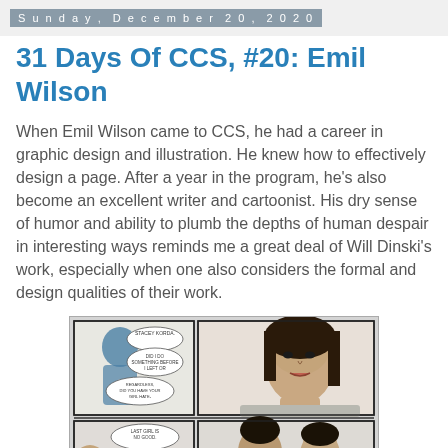Sunday, December 20, 2020
31 Days Of CCS, #20: Emil Wilson
When Emil Wilson came to CCS, he had a career in graphic design and illustration. He knew how to effectively design a page. After a year in the program, he's also become an excellent writer and cartoonist. His dry sense of humor and ability to plumb the depths of human despair in interesting ways reminds me a great deal of Will Dinski's work, especially when one also considers the formal and design qualities of their work.
[Figure (photo): A photograph of a comic book page showing black and white comic panels with characters speaking. One panel shows a bald figure and a woman with dark hair. A blue-tinted figure appears in the upper left area. Speech bubbles contain text about Chicago.]